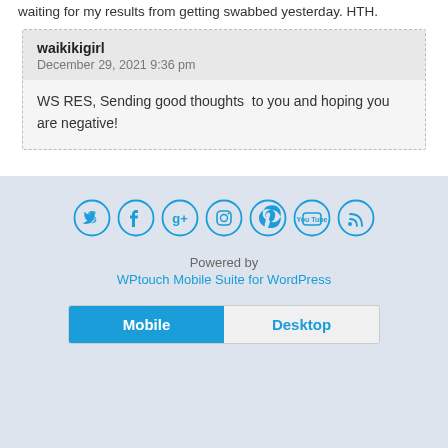waiting for my results from getting swabbed yesterday. HTH.
waikikigirl
December 29, 2021 9:36 pm
WS RES, Sending good thoughts  to you and hoping you are negative!
[Figure (infographic): Social media icons: Twitter, Facebook, Google+, Instagram, Pinterest, YouTube/Talk, RSS — circular outlined blue icons]
Powered by
WPtouch Mobile Suite for WordPress
Mobile  Desktop